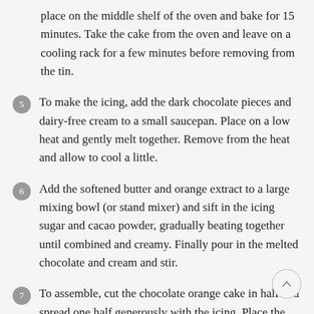place on the middle shelf of the oven and bake for 15 minutes. Take the cake from the oven and leave on a cooling rack for a few minutes before removing from the tin.
5 To make the icing, add the dark chocolate pieces and dairy-free cream to a small saucepan. Place on a low heat and gently melt together. Remove from the heat and allow to cool a little.
6 Add the softened butter and orange extract to a large mixing bowl (or stand mixer) and sift in the icing sugar and cacao powder, gradually beating together until combined and creamy. Finally pour in the melted chocolate and cream and stir.
7 To assemble, cut the chocolate orange cake in half and spread one half generously with the icing. Place the other half of the cake on top of the iced layer and finish by adding more chocolate orange